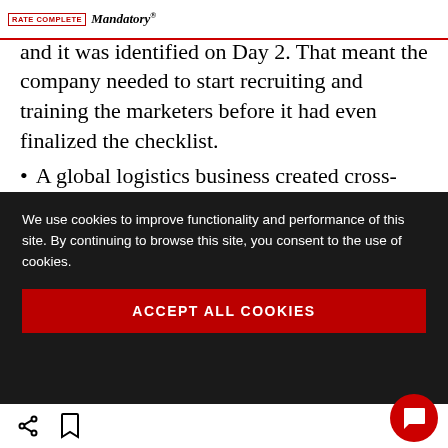RATE COMPLETE | Mandatory®
to run the process. This was the bottleneck—and it was identified on Day 2. That meant the company needed to start recruiting and training the marketers before it had even finalized the checklist.
A global logistics business created cross-functional solutions for top customers. We cited this company earlier for shifting its strategy from functionally focused to...
We use cookies to improve functionality and performance of this site. By continuing to browse this site, you consent to the use of cookies.
ACCEPT ALL COOKIES